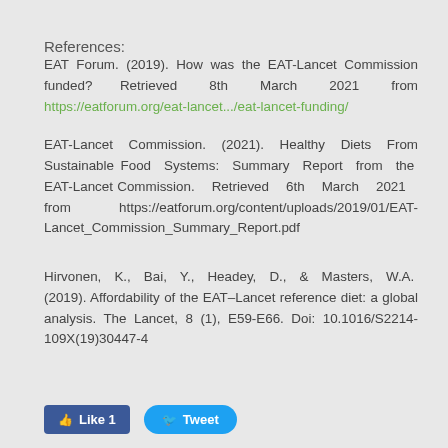References:
EAT Forum. (2019). How was the EAT-Lancet Commission funded? Retrieved 8th March 2021 from https://eatforum.org/eat-lancet.../eat-lancet-funding/
EAT-Lancet Commission. (2021). Healthy Diets From Sustainable Food Systems: Summary Report from the EAT-Lancet Commission. Retrieved 6th March 2021 from https://eatforum.org/content/uploads/2019/01/EAT-Lancet_Commission_Summary_Report.pdf
Hirvonen, K., Bai, Y., Headey, D., & Masters, W.A. (2019). Affordability of the EAT–Lancet reference diet: a global analysis. The Lancet, 8 (1), E59-E66. Doi: 10.1016/S2214-109X(19)30447-4